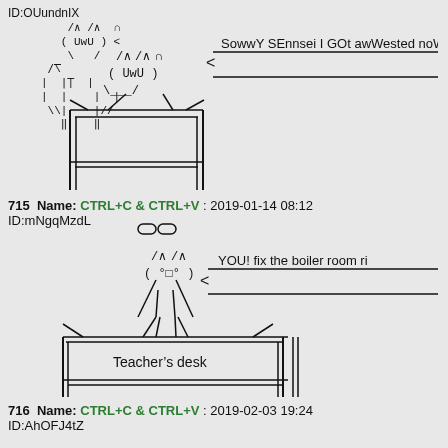ID:OUundnIX
[Figure (illustration): ASCII art cat sitting on a desk/table with speech bubble saying 'SowwY SEnnsei I GOt awWested noW I']
715  Name: CTRL+C & CTRL+V : 2019-01-14 08:12
ID:mNgqMzdL
[Figure (illustration): ASCII art cat sitting on teacher's desk with speech bubble saying 'YOU! fix the boiler room ri']
716  Name: CTRL+C & CTRL+V : 2019-02-03 19:24
ID:AhOFJ4tZ